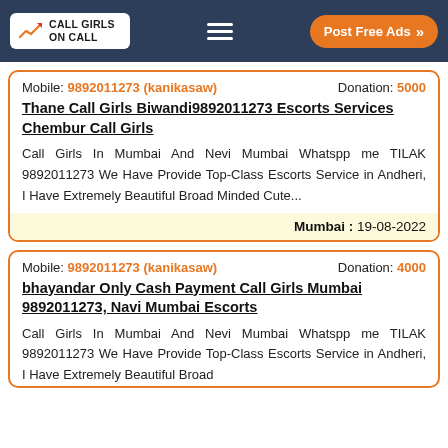CALL GIRLS ON CALL — Post Free Ads
Mobile: 9892011273 (kanikasaw)   Donation: 5000
Thane Call Girls Biwandi9892011273 Escorts Services Chembur Call Girls
Call Girls In Mumbai And Nevi Mumbai Whatspp me TILAK 9892011273 We Have Provide Top-Class Escorts Service in Andheri, I Have Extremely Beautiful Broad Minded Cute...
Mumbai :  19-08-2022
Mobile: 9892011273 (kanikasaw)   Donation: 4000
bhayandar Only Cash Payment Call Girls Mumbai 9892011273, Navi Mumbai Escorts
Call Girls In Mumbai And Nevi Mumbai Whatspp me TILAK 9892011273 We Have Provide Top-Class Escorts Service in Andheri, I Have Extremely Beautiful Broad